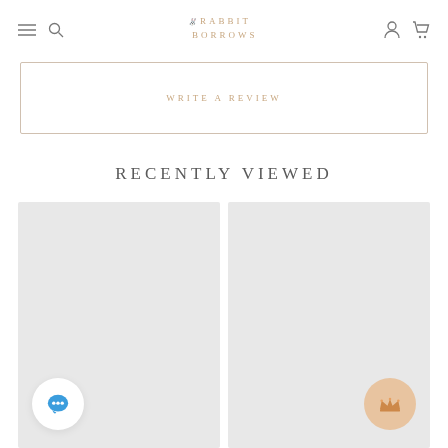Rabbit Borrows - navigation bar with hamburger menu, search, logo, account and cart icons
Write a review
RECENTLY VIEWED
[Figure (other): Two product placeholder image cards side by side. Left card has a white circular chat bubble badge at bottom left. Right card has a peach/gold circular crown badge at bottom right.]